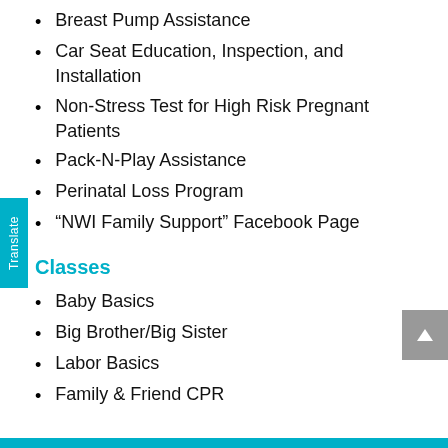Breast Pump Assistance
Car Seat Education, Inspection, and Installation
Non-Stress Test for High Risk Pregnant Patients
Pack-N-Play Assistance
Perinatal Loss Program
“NWI Family Support” Facebook Page
Classes
Baby Basics
Big Brother/Big Sister
Labor Basics
Family & Friend CPR